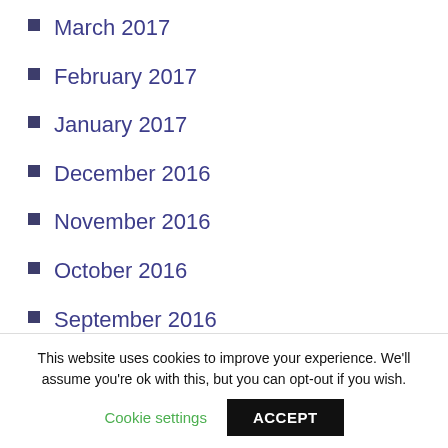March 2017
February 2017
January 2017
December 2016
November 2016
October 2016
September 2016
August 2016
July 2016
June 2016
May 2016
This website uses cookies to improve your experience. We'll assume you're ok with this, but you can opt-out if you wish. Cookie settings ACCEPT